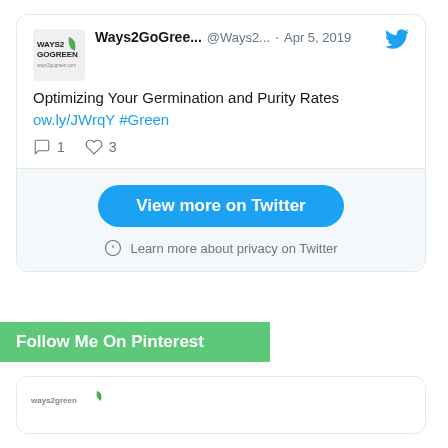[Figure (screenshot): Twitter embed card showing a tweet from Ways2GoGreen (@Ways2...) dated Apr 5, 2019 about 'Optimizing Your Germination and Purity Rates' with a link ow.ly/JWrqY #Green, 1 reply and 3 likes, plus a 'View more on Twitter' button and privacy link.]
Follow Me On Pinterest
[Figure (screenshot): Partial Pinterest widget card showing Ways2GoGreen logo at top left.]